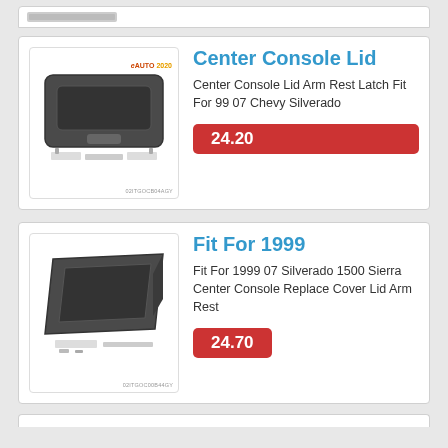[Figure (photo): Partially visible product listing card clipped at top of page]
[Figure (photo): Center Console Lid arm rest latch product photo with eAuto2020 logo, SKU 02ITGOCB04AGY]
Center Console Lid
Center Console Lid Arm Rest Latch Fit For 99 07 Chevy Silverado
24.20
[Figure (photo): Fit For 1999 product photo showing console lid arm rest with hardware, SKU 02ITGOC00B44GY]
Fit For 1999
Fit For 1999 07 Silverado 1500 Sierra Center Console Replace Cover Lid Arm Rest
24.70